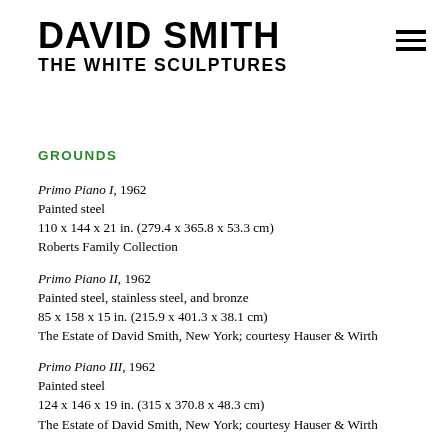DAVID SMITH
THE WHITE SCULPTURES
GROUNDS
Primo Piano I, 1962
Painted steel
110 x 144 x 21 in. (279.4 x 365.8 x 53.3 cm)
Roberts Family Collection
Primo Piano II, 1962
Painted steel, stainless steel, and bronze
85 x 158 x 15 in. (215.9 x 401.3 x 38.1 cm)
The Estate of David Smith, New York; courtesy Hauser & Wirth
Primo Piano III, 1962
Painted steel
124 x 146 x 19 in. (315 x 370.8 x 48.3 cm)
The Estate of David Smith, New York; courtesy Hauser & Wirth
Circle and Box (Circle and Ray), 1963
Painted steel
119 1/2 x 29 1/4 x 22 ½ in. (303.5 x 74.3 x 57.2 cm)
Irma and Norman Braman Art Foundation, Florida